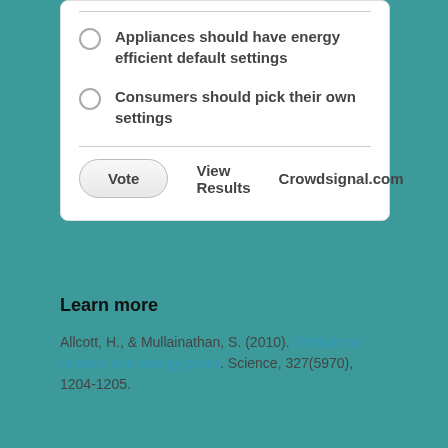Appliances should have energy efficient default settings
Consumers should pick their own settings
Vote   View Results   Crowdsignal.com
Learn more
Allcott, H., & Mullainathan, S. (2010). Behavioral science and energy policy. Science, 327(5970), 1204-1205.